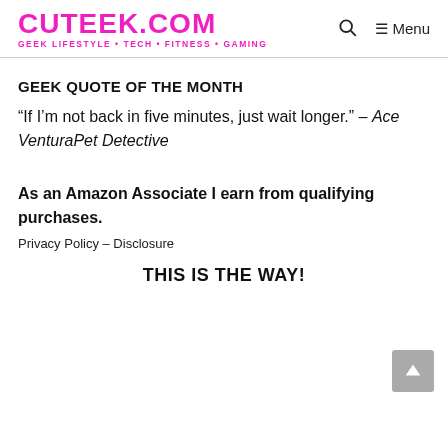CUTEEK.COM GEEK LIFESTYLE • TECH • FITNESS • GAMING
GEEK QUOTE OF THE MONTH
“If I’m not back in five minutes, just wait longer.” – Ace VenturaPet Detective
As an Amazon Associate I earn from qualifying purchases.
Privacy Policy – Disclosure
THIS IS THE WAY!